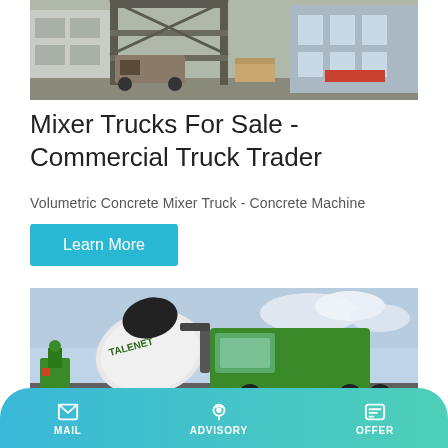[Figure (photo): Construction site with industrial mixer equipment, trucks, and metal framework structure]
Mixer Trucks For Sale - Commercial Truck Trader
Volumetric Concrete Mixer Truck - Concrete Machine
Learn More
[Figure (photo): Green self-loading concrete mixer truck with rotating drum against cloudy sky background, branded TALENET]
MAIL   ADVISORY   OFFER